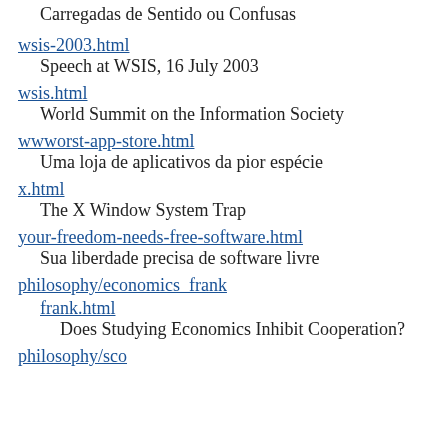Carregadas de Sentido ou Confusas
wsis-2003.html
Speech at WSIS, 16 July 2003
wsis.html
World Summit on the Information Society
wwworst-app-store.html
Uma loja de aplicativos da pior espécie
x.html
The X Window System Trap
your-freedom-needs-free-software.html
Sua liberdade precisa de software livre
philosophy/economics_frank
frank.html
Does Studying Economics Inhibit Cooperation?
philosophy/sco